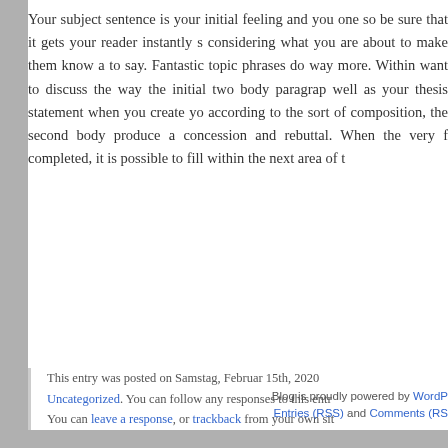Your subject sentence is your initial feeling and you one so be sure that it gets your reader instantly s considering what you are about to make them know a to say. Fantastic topic phrases do way more. Within want to discuss the way the initial two body paragrap well as your thesis statement when you create yo according to the sort of composition, the second body produce a concession and rebuttal. When the very f completed, it is possible to fill within the next area of t
This entry was posted on Samstag, Februar 15th, 2020 Uncategorized. You can follow any responses to this entr You can leave a response, or trackback from your own sit
Leave a Reply
You must be logged in to post a comment.
Blog is proudly powered by WordPress. Entries (RSS) and Comments (RSS)